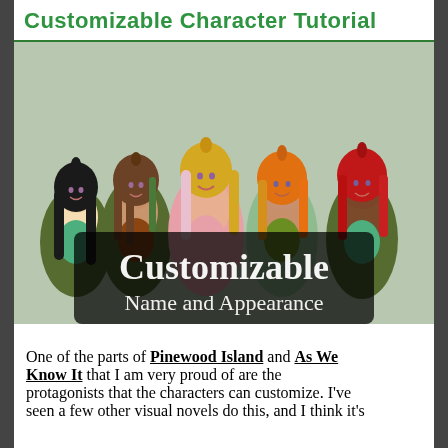Customizable Character Tutorial
[Figure (illustration): Five anime-style female characters standing together, each with different hair colors (black, brown, blonde, orange, red) and skin tones, wearing casual outfits. Overlaid text reads 'Customizable Name and Appearance'.]
One of the parts of Pinewood Island and As We Know It that I am very proud of are the protagonists that the characters can customize. I've seen a few other visual novels do this, and I think it's